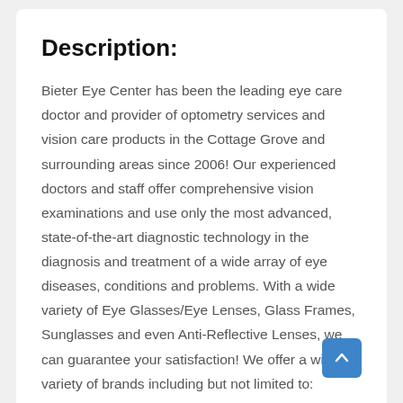Description:
Bieter Eye Center has been the leading eye care doctor and provider of optometry services and vision care products in the Cottage Grove and surrounding areas since 2006! Our experienced doctors and staff offer comprehensive vision examinations and use only the most advanced, state-of-the-art diagnostic technology in the diagnosis and treatment of a wide array of eye diseases, conditions and problems. With a wide variety of Eye Glasses/Eye Lenses, Glass Frames, Sunglasses and even Anti-Reflective Lenses, we can guarantee your satisfaction! We offer a wide variety of brands including but not limited to: RayBan, Kate Spade, Banana Republic Eyewear, OGI Eyewear, Europa, Silhouette and more! Call us today to make an appointment!